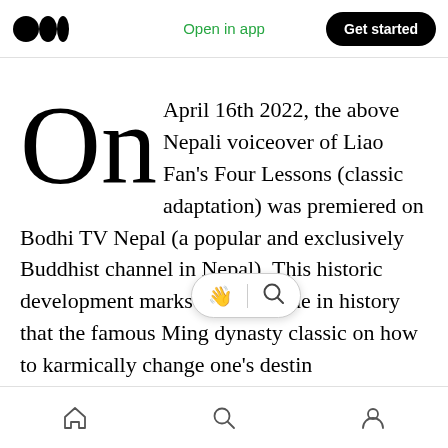Medium app banner — Open in app | Get started
On April 16th 2022, the above Nepali voiceover of Liao Fan's Four Lessons (classic adaptation) was premiered on Bodhi TV Nepal (a popular and exclusively Buddhist channel in Nepal). This historic development marks the first time in history that the famous Ming dynasty classic on how to karmically change one's destiny life was made available in the Ne[pal languag]e, and also the
Home | Search | Profile